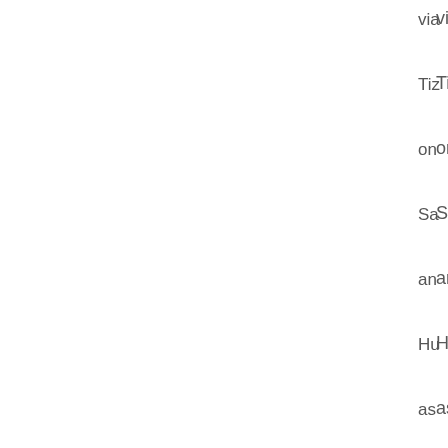via Tiz on Sa and Hu as we as via Sa use by ha me sta up